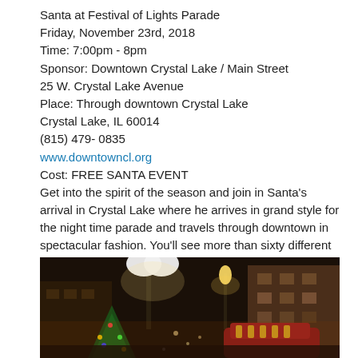Santa at Festival of Lights Parade
Friday, November 23rd, 2018
Time: 7:00pm - 8pm
Sponsor: Downtown Crystal Lake / Main Street
25 W. Crystal Lake Avenue
Place: Through downtown Crystal Lake
Crystal Lake, IL 60014
(815) 479- 0835
www.downtowncl.org
Cost: FREE SANTA EVENT
Get into the spirit of the season and join in Santa's arrival in Crystal Lake where he arrives in grand style for the night time parade and travels through downtown in spectacular fashion. You'll see more than sixty different parade entries including decorated floats, holiday marchers and plenty of music. After the parade Santa will light the downtown tree. Children can then visit with him in his House in Brink Street Market—see separate Santa Houses listing for details.
[Figure (photo): Night time photo of downtown Crystal Lake parade scene with street lights, Christmas decorations, lights on trees and floats, and brick buildings in the background.]